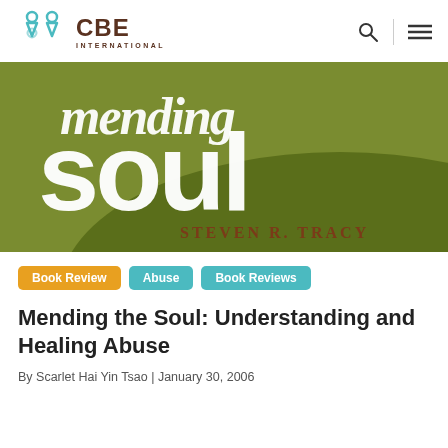CBE International
[Figure (illustration): Book cover for 'Mending the Soul' by Steven R. Tracy, showing large white text 'mending soul' on a green background with author name in brown text]
Book Review
Abuse
Book Reviews
Mending the Soul: Understanding and Healing Abuse
By Scarlet Hai Yin Tsao | January 30, 2006